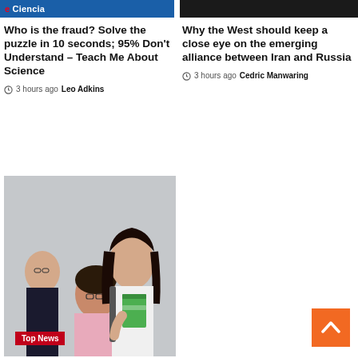[Figure (screenshot): Blue banner header with text 'e Ciencia' in white and red]
[Figure (screenshot): Dark/black banner header area on right]
Who is the fraud? Solve the puzzle in 10 seconds; 95% Don’t Understand – Teach Me About Science
3 hours ago  Leo Adkins
Why the West should keep a close eye on the emerging alliance between Iran and Russia
3 hours ago  Cedric Manwaring
[Figure (photo): Three students in a classroom: a young woman standing holding green books/notebooks, a woman with glasses looking down, and a man with glasses in background]
Top News